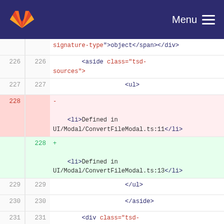[Figure (screenshot): GitLab navigation bar with logo and Menu button]
signature-type">object</span></div>
226  226    <aside class="tsd-sources">
227  227          <ul>
228  -    <li>Defined in UI/Modal/ConvertFileModal.ts:11</li>
228  +    <li>Defined in UI/Modal/ConvertFileModal.ts:13</li>
229  229          </ul>
230  230          </aside>
231  231    <div class="tsd-